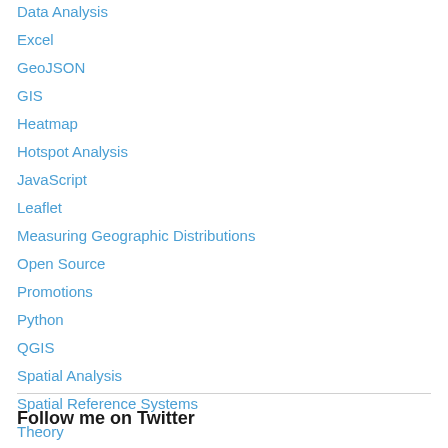Data Analysis
Excel
GeoJSON
GIS
Heatmap
Hotspot Analysis
JavaScript
Leaflet
Measuring Geographic Distributions
Open Source
Promotions
Python
QGIS
Spatial Analysis
Spatial Reference Systems
Theory
Follow me on Twitter